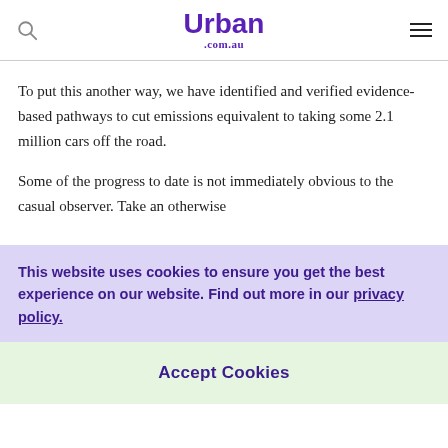Urban .com.au
To put this another way, we have identified and verified evidence-based pathways to cut emissions equivalent to taking some 2.1 million cars off the road.
Some of the progress to date is not immediately obvious to the casual observer. Take an otherwise
This website uses cookies to ensure you get the best experience on our website. Find out more in our privacy policy.
Accept Cookies